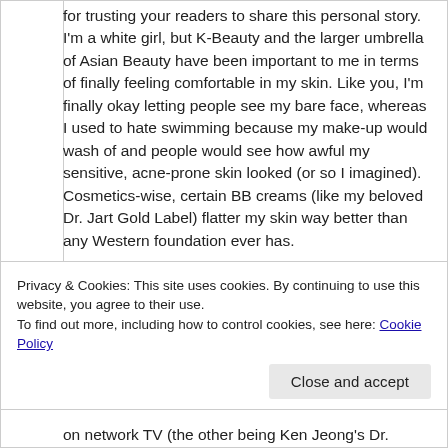for trusting your readers to share this personal story. I'm a white girl, but K-Beauty and the larger umbrella of Asian Beauty have been important to me in terms of finally feeling comfortable in my skin. Like you, I'm finally okay letting people see my bare face, whereas I used to hate swimming because my make-up would wash of and people would see how awful my sensitive, acne-prone skin looked (or so I imagined). Cosmetics-wise, certain BB creams (like my beloved Dr. Jart Gold Label) flatter my skin way better than any Western foundation ever has.

Moving beyond skincare for a moment, while I am heartened that the Korean wave has been popular in the U.S., and love a good Asian drama, what I
Privacy & Cookies: This site uses cookies. By continuing to use this website, you agree to their use.
To find out more, including how to control cookies, see here: Cookie Policy
on network TV (the other being Ken Jeong's Dr.